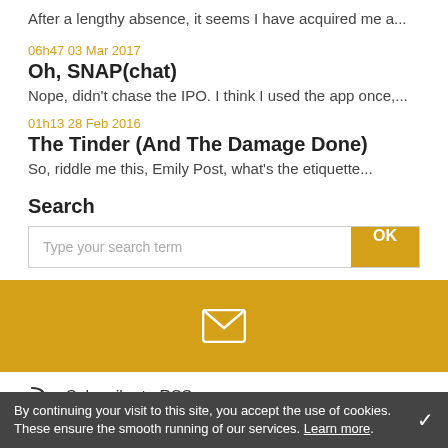After a lengthy absence, it seems I have acquired me a...
06h47 03 Mar 2017
Oh, SNAP(chat)
Nope, didn't chase the IPO. I think I used the app once,...
01h13 28 Feb 2016
The Tinder (And The Damage Done)
So, riddle me this, Emily Post, what's the etiquette...
Search
Type your search term
[Figure (other): Yellow email/newsletter signup banner with white envelope icon]
Subscribe to RSS
Subscribe to ATOM
Popular tags
By continuing your visit to this site, you accept the use of cookies. These ensure the smooth running of our services. Learn more.